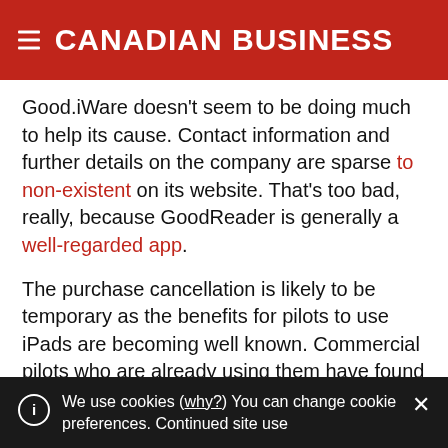CANADIAN BUSINESS
Good.iWare doesn't seem to be doing much to help its cause. Contact information and further details on the company are sparse to non-existent on its website. That's too bad, really, because GoodReader is generally a well-regarded app.
The purchase cancellation is likely to be temporary as the benefits for pilots to use iPads are becoming well known. Commercial pilots who are already using them have found that the devices can easily replace 20 kilograms worth of paper manuals, which ultimately
We use cookies (why?) You can change cookie preferences. Continued site use